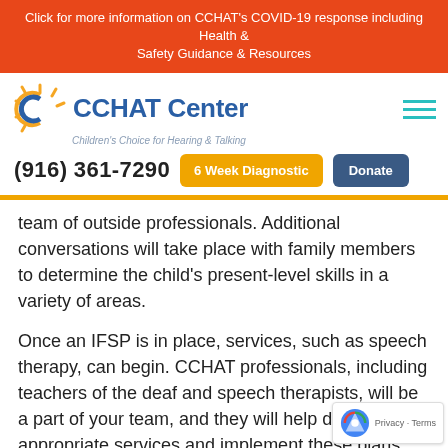Click for more information on CCHAT's COVID-19 response including Health & Safety Guidance & Resources
[Figure (logo): CCHAT Center logo with sun icon and tagline 'Children's Choice for Hearing & Talking']
(916) 361-7290
6 Week Diagnostic
Donate
team of outside professionals. Additional conversations will take place with family members to determine the child's present-level skills in a variety of areas.
Once an IFSP is in place, services, such as speech therapy, can begin. CCHAT professionals, including teachers of the deaf and speech therapists, will be a part of your team, and they will help determine appropriate services and implement these plans. Typically, an IFSP is more family centered than an IEP or 504 Plan, with objectives and outcomes for family members' education and success, in addition to the